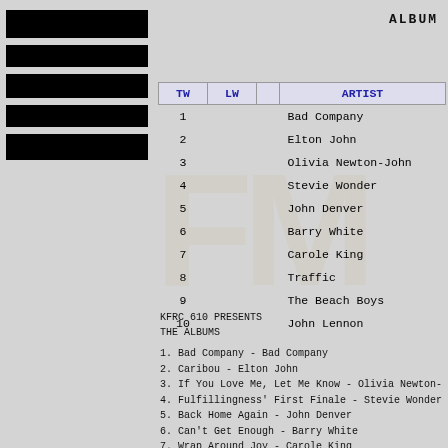ALBUM
[Figure (other): Five horizontal black bars stacked vertically on the left side of the page, representing redacted or blacked-out content]
| TW | LW |  | ARTIST |
| --- | --- | --- | --- |
| 1 |  |  | Bad Company |
| 2 |  |  | Elton John |
| 3 |  |  | Olivia Newton-John |
| 4 |  |  | Stevie Wonder |
| 5 |  |  | John Denver |
| 6 |  |  | Barry White |
| 7 |  |  | Carole King |
| 8 |  |  | Traffic |
| 9 |  |  | The Beach Boys |
| 10 |  |  | John Lennon |
KFRC 610 PRESENTS
THE ALBUMS
1. Bad Company - Bad Company
2. Caribou - Elton John
3. If You Love Me, Let Me Know - Olivia Newton-
4. Fulfillingness' First Finale - Stevie Wonder
5. Back Home Again - John Denver
6. Can't Get Enough - Barry White
7. Wrap Around Joy - Carole King